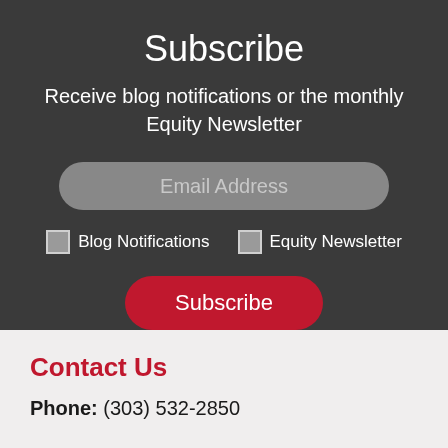Subscribe
Receive blog notifications or the monthly Equity Newsletter
Email Address
Blog Notifications
Equity Newsletter
Subscribe
Contact Us
Phone: (303) 532-2850